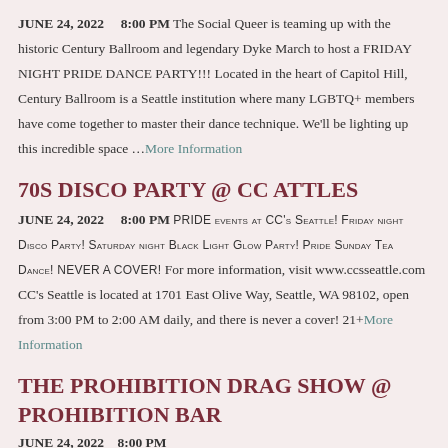JUNE 24, 2022   8:00 PM The Social Queer is teaming up with the historic Century Ballroom and legendary Dyke March to host a FRIDAY NIGHT PRIDE DANCE PARTY!!! Located in the heart of Capitol Hill, Century Ballroom is a Seattle institution where many LGBTQ+ members have come together to master their dance technique. We'll be lighting up this incredible space …More Information
70S DISCO PARTY @ CC ATTLES
JUNE 24, 2022   8:00 PM PRIDE events at CC's Seattle! Friday night Disco Party! Saturday night Black Light Glow Party! Pride Sunday Tea Dance! NEVER A COVER! For more information, visit www.ccsseattle.com CC's Seattle is located at 1701 East Olive Way, Seattle, WA 98102, open from 3:00 PM to 2:00 AM daily, and there is never a cover! 21+More Information
THE PROHIBITION DRAG SHOW @ PROHIBITION BAR
JUNE 24, 2022   8:00 PM